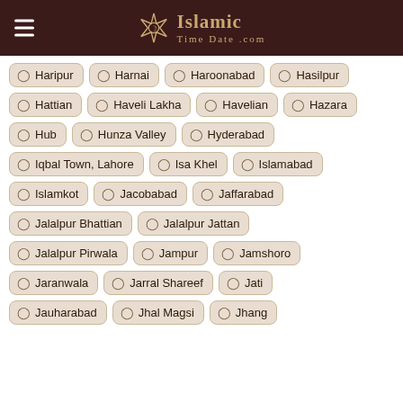Islamic Time Date .com
Haripur
Harnai
Haroonabad
Hasilpur
Hattian
Haveli Lakha
Havelian
Hazara
Hub
Hunza Valley
Hyderabad
Iqbal Town, Lahore
Isa Khel
Islamabad
Islamkot
Jacobabad
Jaffarabad
Jalalpur Bhattian
Jalalpur Jattan
Jalalpur Pirwala
Jampur
Jamshoro
Jaranwala
Jarral Shareef
Jati
Jauharabad
Jhal Magsi
Jhang